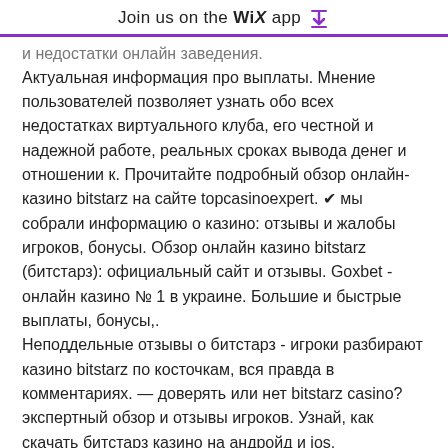Join us on the WiX app ↓
и недостатки онлайн заведения. Актуальная информация про выплаты. Мнение пользователей позволяет узнать обо всех недостатках виртуального клуба, его честной и надежной работе, реальных сроках вывода денег и отношении к. Прочитайте подробный обзор онлайн-казино bitstarz на сайте topcasinoexpert. ✔ мы собрали информацию о казино: отзывы и жалобы игроков, бонусы. Обзор онлайн казино bitstarz (битстарз): официальный сайт и отзывы. Goxbet - онлайн казино № 1 в украине. Большие и быстрые выплаты, бонусы,. Неподдельные отзывы о битстарз - игроки разбирают казино bitstarz по косточкам, вся правда в комментариях. — доверять или нет bitstarz casino? экспертный обзор и отзывы игроков. Узнай, как скачать битстарз казино на андройд и ios.